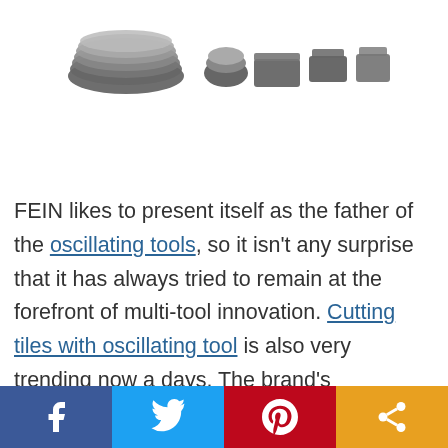[Figure (photo): Product photo showing a set of oscillating tool blades/accessories arranged in a row on a white background]
FEIN likes to present itself as the father of the oscillating tools, so it isn't any surprise that it has always tried to remain at the forefront of multi-tool innovation. Cutting tiles with oscillating tool is also very trending now a days. The brand's MultiMaster 350QSL is certainly innovative and has
[Figure (infographic): Social media share bar at the bottom with Facebook (blue), Twitter (light blue), Pinterest (red), and Share (orange) buttons]